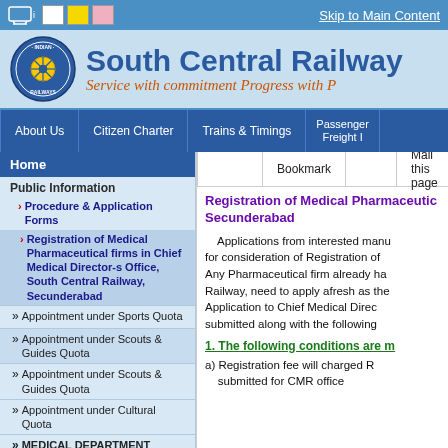Skip to Main Content
South Central Railway — Service with commitment Progress with P
About Us | Citizen Charter | Trains & Timings | Passenger Freight I
Home
Public Information
> Procedure & Application Forms
> Registration of Medical Pharmaceutical firms in Chief Medical Director-s Office, South Central Railway, Secunderabad
>> Appointment under Sports Quota
>> Appointment under Scouts & Guides Quota
>> Appointment under Scouts & Guides Quota
>> Appointment under Cultural Quota
>> MEDICAL DEPARTMENT
Bookmark    Mail this page
Registration of Medical Pharmaceutical firms in Chief Medical Director-s Office, South Central Railway, Secunderabad
Applications from interested manufacturers for consideration of Registration of Any Pharmaceutical firm already ha Railway, need to apply afresh as the Application to Chief Medical Direc submitted along with the following
1. The following conditions are m
a) Registration fee will charged R submitted for CMR office